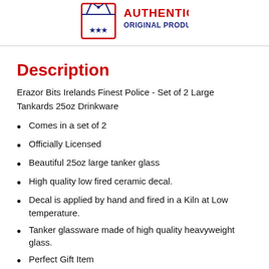[Figure (logo): Authentic Original Products badge with red text and blue box icon]
Description
Erazor Bits Irelands Finest Police - Set of 2 Large Tankards 25oz Drinkware
Comes in a set of 2
Officially Licensed
Beautiful 25oz large tanker glass
High quality low fired ceramic decal.
Decal is applied by hand and fired in a Kiln at Low temperature.
Tanker glassware made of high quality heavyweight glass.
Perfect Gift Item